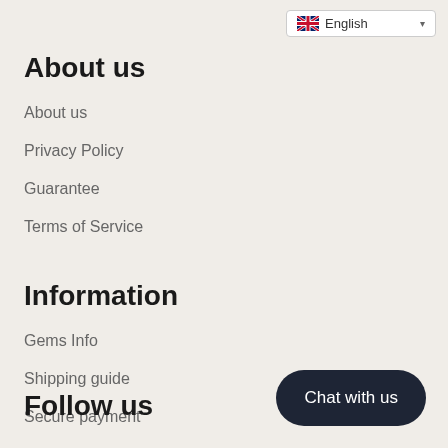English (language selector)
About us
About us
Privacy Policy
Guarantee
Terms of Service
Information
Gems Info
Shipping guide
Secure payment
Contact Us
Follow us
Chat with us